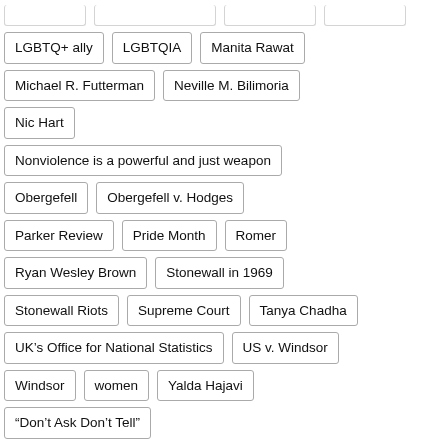LGBTQ+ ally
LGBTQIA
Manita Rawat
Michael R. Futterman
Neville M. Bilimoria
Nic Hart
Nonviolence is a powerful and just weapon
Obergefell
Obergefell v. Hodges
Parker Review
Pride Month
Romer
Ryan Wesley Brown
Stonewall in 1969
Stonewall Riots
Supreme Court
Tanya Chadha
UK’s Office for National Statistics
US v. Windsor
Windsor
women
Yalda Hajavi
“Don’t Ask Don’t Tell”